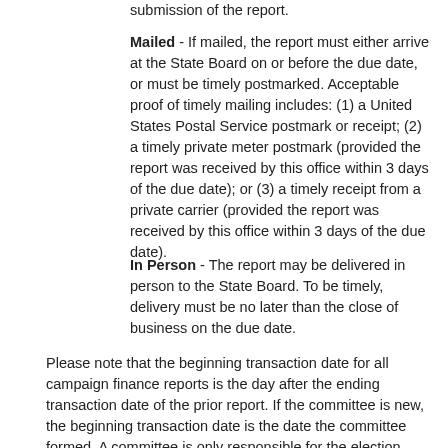submission of the report.
Mailed - If mailed, the report must either arrive at the State Board on or before the due date, or must be timely postmarked. Acceptable proof of timely mailing includes: (1) a United States Postal Service postmark or receipt; (2) a timely private meter postmark (provided the report was received by this office within 3 days of the due date); or (3) a timely receipt from a private carrier (provided the report was received by this office within 3 days of the due date).
In Person - The report may be delivered in person to the State Board. To be timely, delivery must be no later than the close of business on the due date.
Please note that the beginning transaction date for all campaign finance reports is the day after the ending transaction date of the prior report. If the committee is new, the beginning transaction date is the date the committee formed. A committee is only responsible for the election related reports in the election year which the committee has expressly designated its participation. However, if a committee participates in an election year which it has not designated, the committee must notify the State Board of